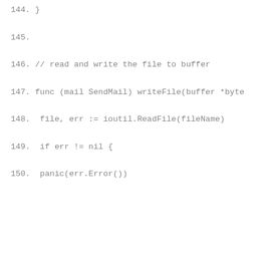144. }
145.
146. // read and write the file to buffer
147. func (mail SendMail) writeFile(buffer *byte
148.  file, err := ioutil.ReadFile(fileName)
149.  if err != nil {
150.  panic(err.Error())